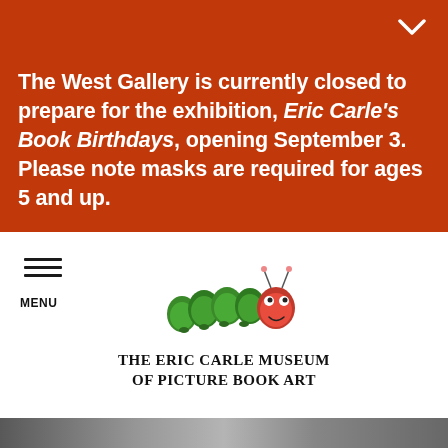The West Gallery is currently closed to prepare for the exhibition, Eric Carle's Book Birthdays, opening September 3. Please note masks are required for ages 5 and up.
[Figure (logo): Eric Carle Museum of Picture Book Art logo featuring the Very Hungry Caterpillar illustration above the museum name in bold serif text]